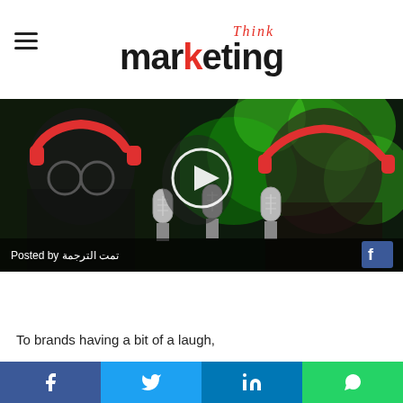Think marketing
[Figure (screenshot): Video thumbnail showing people wearing red headphones with microphones, posted by تمت الترجمة, with a play button overlay and Facebook icon]
To brands having a bit of a laugh,
[Figure (infographic): Social share bar with Facebook, Twitter, LinkedIn, and WhatsApp buttons]